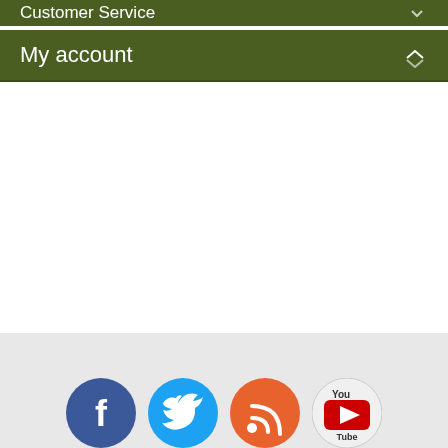Customer Service
My account
[Figure (infographic): Social media icon buttons for Facebook, Twitter, RSS, and YouTube shown at bottom of page in a footer area]